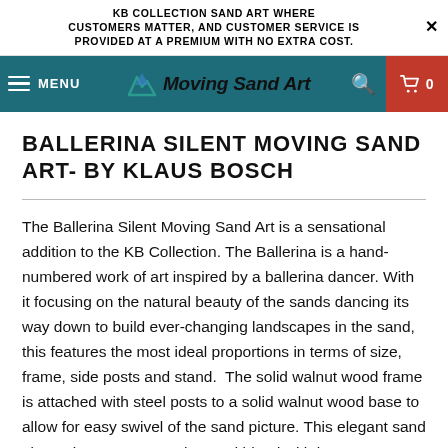KB COLLECTION SAND ART WHERE CUSTOMERS MATTER, AND CUSTOMER SERVICE IS PROVIDED AT A PREMIUM WITH NO EXTRA COST.
[Figure (logo): Moving Sand Art website navigation bar with hamburger menu, teal background, logo with mountain/wave icon and italic text 'Moving Sand Art', search icon, and red cart button showing 0]
BALLERINA SILENT MOVING SAND ART- BY KLAUS BOSCH
The Ballerina Silent Moving Sand Art is a sensational addition to the KB Collection. The Ballerina is a hand-numbered work of art inspired by a ballerina dancer. With it focusing on the natural beauty of the sands dancing its way down to build ever-changing landscapes in the sand, this features the most ideal proportions in terms of size, frame, side posts and stand.  The solid walnut wood frame is attached with steel posts to a solid walnut wood base to allow for easy swivel of the sand picture. This elegant sand picture has a warm earthy sand blend with brown, orange and gold. The gold/orange colors against the brown sands are